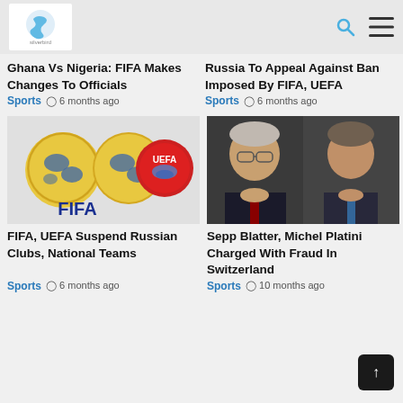Silverbird
Ghana Vs Nigeria: FIFA Makes Changes To Officials
Sports  6 months ago
Russia To Appeal Against Ban Imposed By FIFA, UEFA
Sports  6 months ago
[Figure (photo): FIFA and UEFA logos side by side]
FIFA, UEFA Suspend Russian Clubs, National Teams
Sports  6 months ago
[Figure (photo): Sepp Blatter and Michel Platini side by side at press conference]
Sepp Blatter, Michel Platini Charged With Fraud In Switzerland
Sports  10 months ago